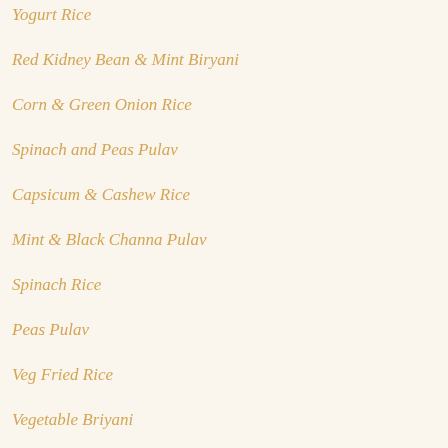Yogurt Rice
Red Kidney Bean & Mint Biryani
Corn & Green Onion Rice
Spinach and Peas Pulav
Capsicum & Cashew Rice
Mint & Black Channa Pulav
Spinach Rice
Peas Pulav
Veg Fried Rice
Vegetable Briyani
Carrot Rice